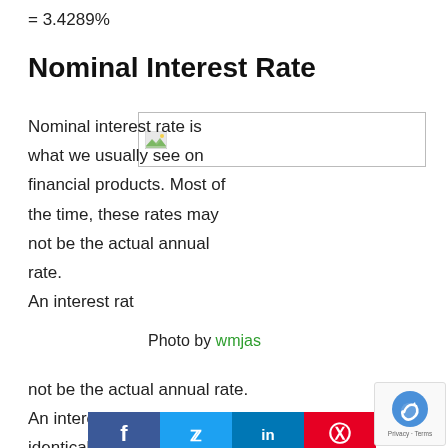Nominal Interest Rate
[Figure (photo): Placeholder image with broken image icon, used inline with text about nominal interest rate]
Nominal interest rate is what we usually see on financial products. Most of the time, these rates may not be the actual annual rate. An interest rate with frequent compounding (e.g. a month) is not identical to the
Photo by wmjas